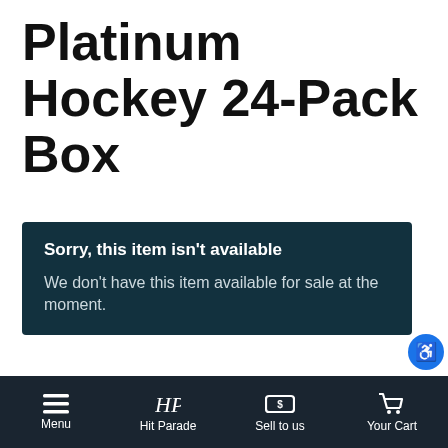Platinum Hockey 24-Pack Box
Sorry, this item isn't available
We don't have this item available for sale at the moment.
We're buying! Sell us this product
Paying $25.00
SELL TO US
Menu  Hit Parade  Sell to us  Your Cart